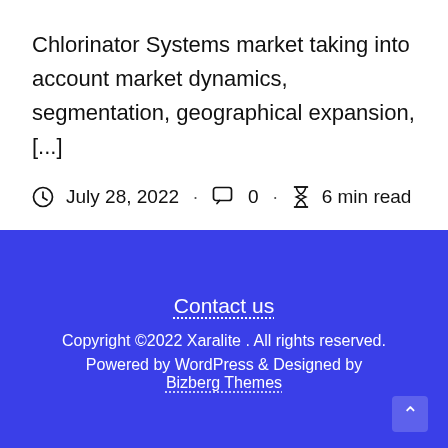Chlorinator Systems market taking into account market dynamics, segmentation, geographical expansion, [...]
July 28, 2022 · 0 · 6 min read
Contact us
Copyright ©2022 Xaralite . All rights reserved.
Powered by WordPress & Designed by Bizberg Themes